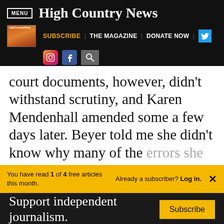MENU | High Country News
SUBSCRIBE | THE MAGAZINE | DONATE NOW
court documents, however, didn't withstand scrutiny, and Karen Mendenhall amended some a few days later. Beyer told me she didn't know why many of the errors she cited had been
You have read 1 of 4 free articles this month. Already a subscriber? Log in.
Support independent journalism.
Subscribe